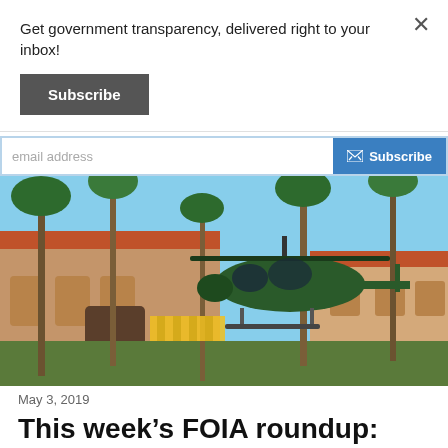Get government transparency, delivered right to your inbox!
Subscribe
email address
Subscribe
[Figure (photo): A Marine One helicopter hovering near Mar-a-Lago estate in Palm Beach, Florida, with palm trees and the Spanish-style building in the background.]
May 3, 2019
This week's FOIA roundup: taxpayers covered Trump's bar tab, USA TODAY